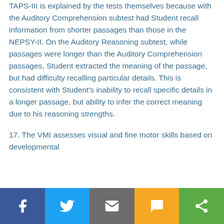TAPS-III is explained by the tests themselves because with the Auditory Comprehension subtest had Student recall information from shorter passages than those in the NEPSY-II. On the Auditory Reasoning subtest, while passages were longer than the Auditory Comprehension passages, Student extracted the meaning of the passage, but had difficulty recalling particular details. This is consistent with Student's inability to recall specific details in a longer passage, but ability to infer the correct meaning due to his reasoning strengths.
17. The VMI assesses visual and fine motor skills based on developmental